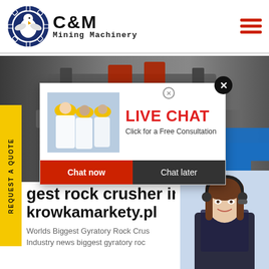[Figure (logo): C&M Mining Machinery logo with eagle in gear circle on left, bold C&M text and Mining Machinery below]
[Figure (photo): Hero banner showing industrial mining machinery and conveyor equipment in a factory setting]
[Figure (infographic): Live chat popup overlay with workers in hard hats, LIVE CHAT heading in red, 'Click for a Free Consultation' subtext, Chat now red button and Chat later dark button]
[Figure (photo): Right side widget showing female customer service agent wearing headset with Hours/Online and Click to Chat labels]
gest rock crusher in th
krowkamarkety.pl
Worlds Biggest Gyratory Rock Crus
Industry news biggest gyratory roc